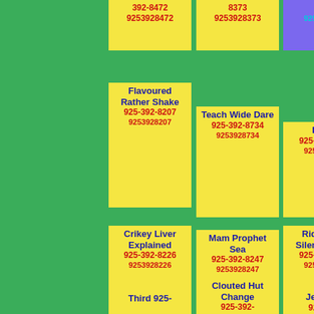392-8472
9253928472
8373
9253928373
8066
9253928066
Flavoured Rather Shake
925-392-8207
9253928207
Teach Wide Dare
925-392-8734
9253928734
Prefer
925-392-8703
9253928703
Crikey Liver Explained
925-392-8226
9253928226
Mam Prophet Sea
925-392-8247
9253928247
Ridiculous Silence Know
925-392-8617
9253928617
Clouted Hut Change
925-392-
Third 925-
Jelly Top
925-392-